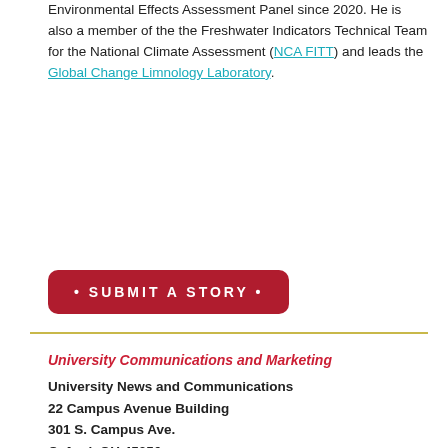Environmental Effects Assessment Panel since 2020. He is also a member of the the Freshwater Indicators Technical Team for the National Climate Assessment (NCA FITT) and leads the Global Change Limnology Laboratory.
• SUBMIT A STORY •
University Communications and Marketing
University News and Communications
22 Campus Avenue Building
301 S. Campus Ave.
Oxford, OH 45056